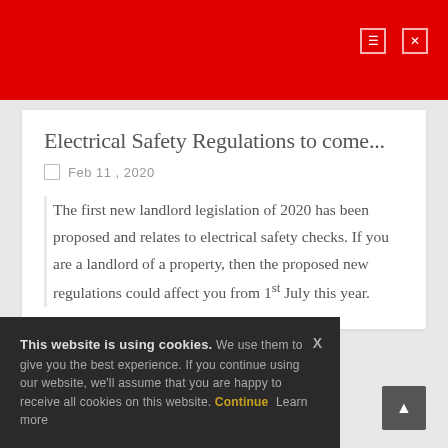Electrical Safety Regulations to come...
Feb 11 , 2020
The first new landlord legislation of 2020 has been proposed and relates to electrical safety checks. If you are a landlord of a property, then the proposed new regulations could affect you from 1st July this year.
This website is using cookies. We use them to give you the best experience. If you continue using our website, we'll assume that you are happy to receive all cookies on this website. Continue  Learn more